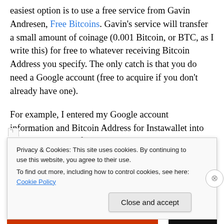easiest option is to use a free service from Gavin Andresen, Free Bitcoins. Gavin's service will transfer a small amount of coinage (0.001 Bitcoin, or BTC, as I write this) for free to whatever receiving Bitcoin Address you specify. The only catch is that you do need a Google account (free to acquire if you don't already have one).
For example, I entered my Google account information and Bitcoin Address for Instawallet into the Free Bitcoins “faucet” and it sent 0.001BTC my way.
Privacy & Cookies: This site uses cookies. By continuing to use this website, you agree to their use.
To find out more, including how to control cookies, see here: Cookie Policy